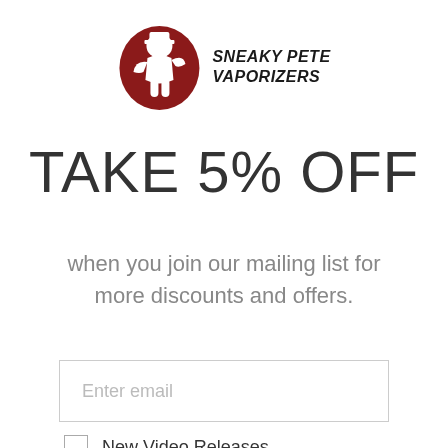[Figure (logo): Sneaky Pete Vaporizers logo: dark red silhouette of a figure wearing a hat inside a circle shape, with bold italic text SNEAKY PETE VAPORIZERS to the right]
TAKE 5% OFF
when you join our mailing list for more discounts and offers.
Enter email
New Video Releases
Sales & Discounts Only